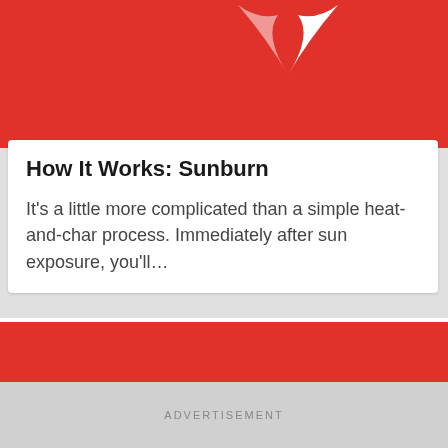[Figure (illustration): Red background image with a white bird or flame logo partially visible at the top center]
How It Works: Sunburn
It's a little more complicated than a simple heat-and-char process. Immediately after sun exposure, you'll…
[Figure (illustration): Red background image, partial article card image]
ADVERTISEMENT